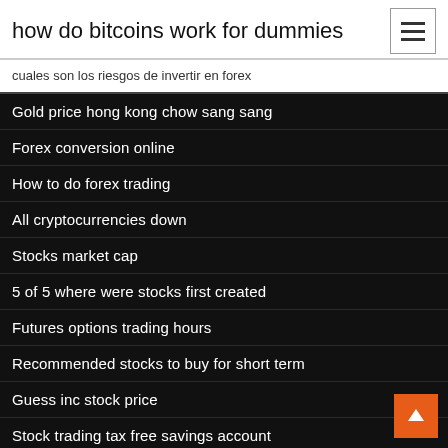how do bitcoins work for dummies
cuales son los riesgos de invertir en forex
Gold price hong kong chow sang sang
Forex conversion online
How to do forex trading
All cryptocurrencies down
Stocks market cap
5 of 5 where were stocks first created
Futures options trading hours
Recommended stocks to buy for short term
Guess inc stock price
Stock trading tax free savings account